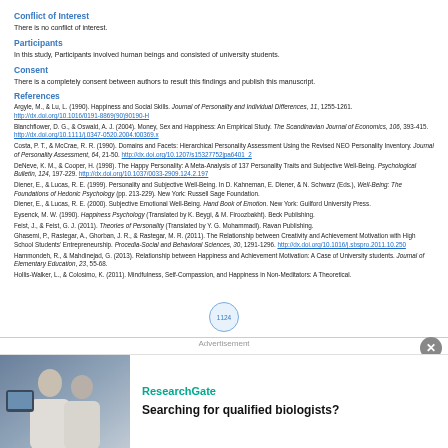Conflict of Interest
There is no conflict of interest.
Participants
In this study, Participants involved human beings and consisted of university students.
Consent
There is a completely consent between authors to result this findings and publish this manuscript.
References
Argyle, M., & Lu, L. (1990). Happiness and Social Skills. Journal of Personality and Individual Differences, 11, 1255-1261. http://dx.doi.org/10.1016/0191-8869(90)90190-H
Blanchflower, D. G., & Oswald, A. J. (2004). Money, Sex and Happiness: An Empirical Study. The Scandinavian Journal of Economics, 106, 393-415. http://dx.doi.org/10.1111/j.0347-0520.2004.t00369.x
Costa, P. T., & McCrae, R. R. (1990). Domains and Facets: Hierarchical Personality Assessment Using the Revised NEO Personality Inventory. Journal of Personality Assessment, 64, 21-50. http://dx.doi.org/10.1207/s15327752jpa6401_2
DeNeve, K. M., & Cooper, H. (1998). The Happy Personality: A Meta-Analysis of 137 Personality Traits and Subjective Well-Being. Psychological Bulletin, 124, 197-229. http://dx.doi.org/10.1037/0033-2909.124.2.197
Diener, E., & Lucas, R. E. (1999). Personality and Subjective Well-Being. In D. Kahneman, E. Diener, & N. Schwarz (Eds.), Well-Being: The Foundations of Hedonic Psychology (pp. 213-229). New York: Russell Sage Foundation.
Diener, E., & Lucas, R. E. (2000). Subjective Emotional Well-Being. Hand Book of Emotion. New York: Guilford University Press.
Eysenck, M. W. (1990). Happiness Psychology (Translated by K. Beygi, & M. Firoozbakht). Beck Publishing.
Feist, J., & Feist, G. J. (2011). Theories of Personality (Translated by Y. G. Mohammadi). Ravan Publishing.
Ghasemi, P., Rastegar, A., Ghorban, J. R., & Rastegar, M. R. (2011). The Relationship between Creativity and Achievement Motivation with High School Students' Entrepreneurship. Procedia-Social and Behavioral Sciences, 30, 1291-1296. http://dx.doi.org/10.1016/j.sbspro.2011.10.250
Hammondeh, R., & Mahdinejad, G. (2013). Relationship between Happiness and Achievement Motivation: A Case of University students. Journal of Elementary Education, 23, 55-68.
Hollis-Walker, L., & Colosimo, K. (2011). Mindfulness, Self-Compassion, and Happiness in Non-Meditators: A Theoretical.
1124
Advertisement
[Figure (photo): Photo of two people (researchers/scientists) looking at a computer screen, used in a ResearchGate advertisement]
ResearchGate
Searching for qualified biologists?